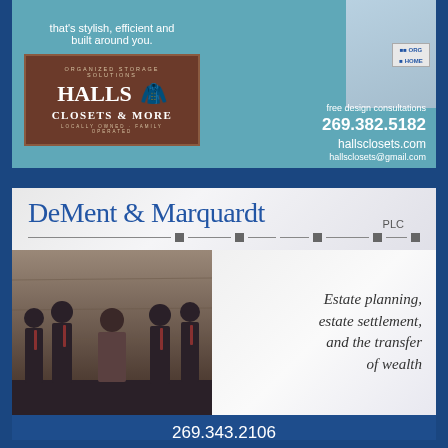[Figure (photo): Halls Closets & More advertisement on teal background showing logo and contact info. Tagline: that's stylish, efficient and built around you. Phone: 269.382.5182, Website: hallsclosets.com, Email: hallsclosets@gmail.com]
[Figure (photo): DeMent & Marquardt PLC law firm advertisement on white/marble background. Shows firm logo, group photo of 5 attorneys, services: Estate planning, estate settlement, and the transfer of wealth. Phone: 269.343.2106, CTA: Click for More Information]